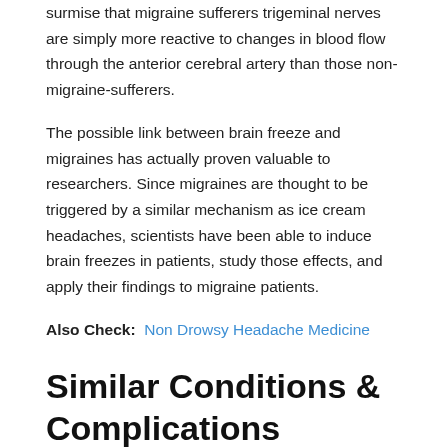surmise that migraine sufferers trigeminal nerves are simply more reactive to changes in blood flow through the anterior cerebral artery than those non-migraine-sufferers.
The possible link between brain freeze and migraines has actually proven valuable to researchers. Since migraines are thought to be triggered by a similar mechanism as ice cream headaches, scientists have been able to induce brain freezes in patients, study those effects, and apply their findings to migraine patients.
Also Check:  Non Drowsy Headache Medicine
Similar Conditions & Complications
Ophthalmodynia periodica is similar to but different from